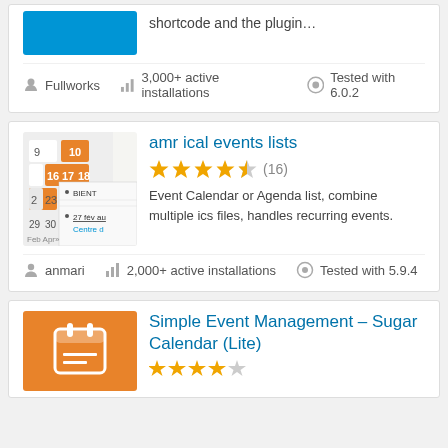shortcode and the plugin…
Fullworks
3,000+ active installations   Tested with 6.0.2
[Figure (screenshot): Calendar thumbnail showing dates with orange highlighting and French event list entries including BIENT and 27 fév au Centre d]
amr ical events lists
★★★★½ (16)
Event Calendar or Agenda list, combine multiple ics files, handles recurring events.
anmari
2,000+ active installations   Tested with 5.9.4
[Figure (logo): Orange square logo with white calendar/bracket icon]
Simple Event Management – Sugar Calendar (Lite)